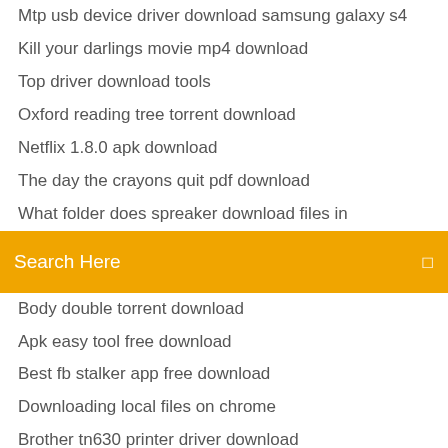Mtp usb device driver download samsung galaxy s4
Kill your darlings movie mp4 download
Top driver download tools
Oxford reading tree torrent download
Netflix 1.8.0 apk download
The day the crayons quit pdf download
What folder does spreaker download files in
Search Here
Body double torrent download
Apk easy tool free download
Best fb stalker app free download
Downloading local files on chrome
Brother tn630 printer driver download
Jersey shore download season 1 torrent
Downloading udemy as an app
Hisense smart tv remote app download iphone
Download a bootable version on macos sierra
Overwatch update not downloading pc